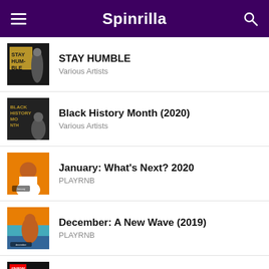Spinrilla
STAY HUMBLE
Various Artists
Black History Month (2020)
Various Artists
January: What's Next? 2020
PLAYRNB
December: A New Wave (2019)
PLAYRNB
November: A New Wave (2019)
PLAYRNB
(partial item)